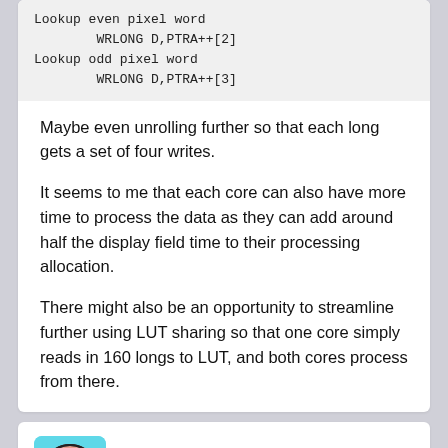Lookup even pixel word
        WRLONG D,PTRA++[2]
Lookup odd pixel word
        WRLONG D,PTRA++[3]
Maybe even unrolling further so that each long gets a set of four writes.
It seems to me that each core can also have more time to process the data as they can add around half the display field time to their processing allocation.
There might also be an opportunity to streamline further using LUT sharing so that one core simply reads in 160 longs to LUT, and both cores process from there.
78rpm   Posts: 264
2018-11-01 23:09